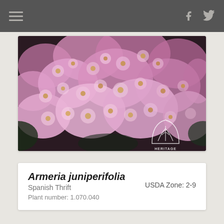Navigation bar with hamburger menu, Facebook and Twitter icons
[Figure (photo): Close-up photograph of pink Armeria juniperifolia (Spanish Thrift) flowers in bloom, with Heritage Perennials watermark logo in bottom right corner]
Armeria juniperifolia
Spanish Thrift
Plant number: 1.070.040
USDA Zone: 2-9